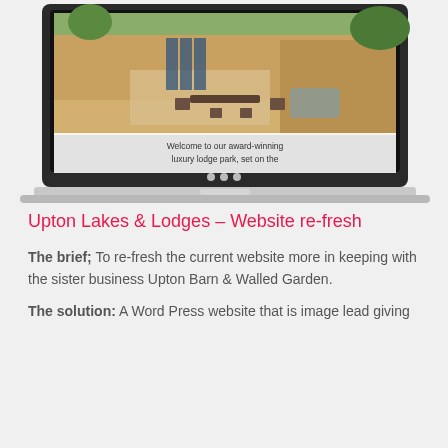[Figure (screenshot): A laptop mockup displaying a website for a luxury lodge park. The website shows a wooden deck with outdoor furniture and a building with glass doors. A caption reads 'Welcome to our award-winning luxury lodge park, set on the']
Upton Lakes & Lodges – Website re-fresh
The brief; To re-fresh the current website more in keeping with the sister business Upton Barn & Walled Garden.
The solution: A Word Press website that is image lead giving